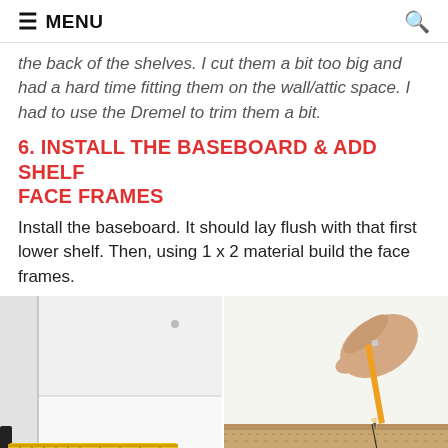≡ MENU
the back of the shelves. I cut them a bit too big and had a hard time fitting them on the wall/attic space. I had to use the Dremel to trim them a bit.
6. INSTALL THE BASEBOARD & ADD SHELF FACE FRAMES
Install the baseboard. It should lay flush with that first lower shelf. Then, using 1 x 2 material build the face frames.
[Figure (photo): Left photo: interior corner of a white shelf with a yellow tape measure lying on the shelf surface along the bottom edge and a black L-bracket clamp at the lower left.]
[Figure (photo): Right photo: a hand holding a pencil and marking a measurement on the edge of a piece of plywood/wood board, with white background.]